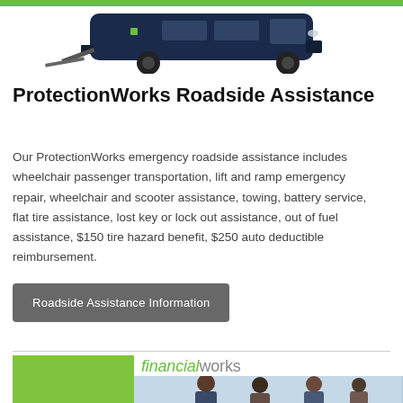[Figure (photo): Dark blue wheelchair accessible van with ramp extended, with a green bar at the top]
ProtectionWorks Roadside Assistance
Our ProtectionWorks emergency roadside assistance includes wheelchair passenger transportation, lift and ramp emergency repair, wheelchair and scooter assistance, towing, battery service, flat tire assistance, lost key or lock out assistance, out of fuel assistance, $150 tire hazard benefit, $250 auto deductible reimbursement.
[Figure (other): Button: Roadside Assistance Information]
[Figure (other): Bottom section showing green square on left and 'financialworks' logo with people image on right]